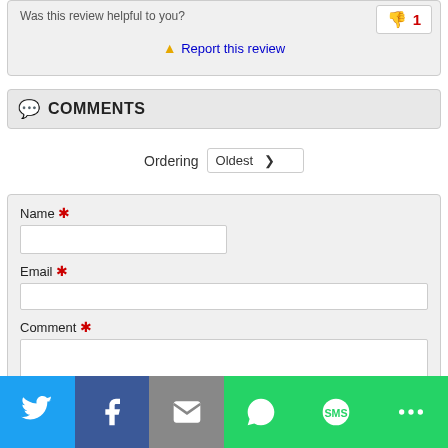Was this review helpful to you?
👎 1
⚠ Report this review
COMMENTS
Ordering Oldest
Name *
Email *
Comment *
[Figure (screenshot): Social share bar with Twitter, Facebook, Email, WhatsApp, SMS, and More buttons]